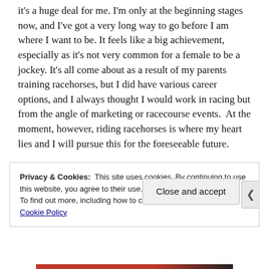it's a huge deal for me. I'm only at the beginning stages now, and I've got a very long way to go before I am where I want to be. It feels like a big achievement, especially as it's not very common for a female to be a jockey. It's all come about as a result of my parents training racehorses, but I did have various career options, and I always thought I would work in racing but from the angle of marketing or racecourse events.  At the moment, however, riding racehorses is where my heart lies and I will pursue this for the foreseeable future.
Privacy & Cookies:  This site uses cookies. By continuing to use this website, you agree to their use.
To find out more, including how to control cookies, see here: Cookie Policy